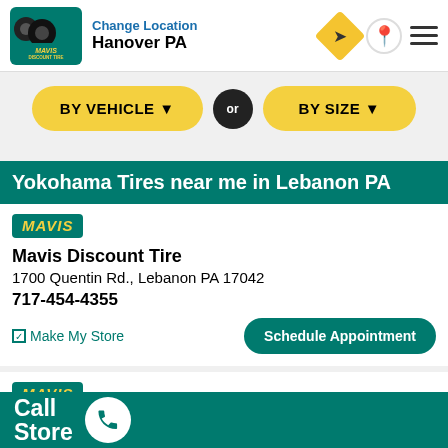Change Location
Hanover PA
BY VEHICLE ▼ OR BY SIZE ▼
Yokohama Tires near me in Lebanon PA
[Figure (logo): Mavis Discount Tire logo badge in teal/yellow]
Mavis Discount Tire
1700 Quentin Rd., Lebanon PA 17042
717-454-4355
☑ Make My Store   [Schedule Appointment]
[Figure (logo): Mavis Discount Tire logo badge in teal/yellow]
Mavis Discount Tire
[St., Palmyra PA 17078]
Call Store